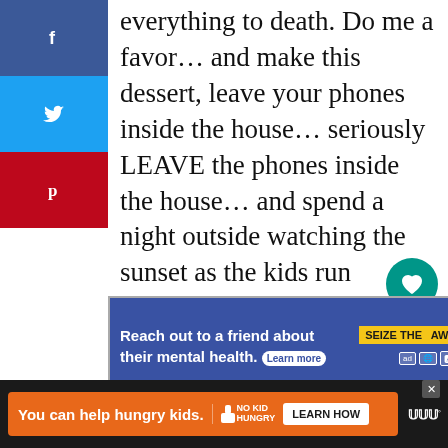everything to death. Do me a favor… and make this dessert, leave your phones inside the house… seriously LEAVE the phones inside the house… and spend a night outside watching the sunset as the kids run through the sprinklers, chase butterflies, make mud cities, roll in the grass, and watch the stars appear across a clear summer night sky!
[Figure (screenshot): Social media share sidebar with Facebook (blue), Twitter (blue), and Pinterest (red) buttons]
[Figure (screenshot): Heart/like button with teal background showing save action]
14.8K
[Figure (screenshot): Share button (circle with share icon)]
[Figure (screenshot): Advertisement banner: Reach out to a friend about their mental health. Learn more. SEIZE THE AWKWARD.]
[Figure (screenshot): WHAT'S NEXT arrow. Cranberry Orange... thumbnail.]
[Figure (screenshot): Bottom ad bar: You can help hungry kids. NO KID HUNGRY. LEARN HOW.]